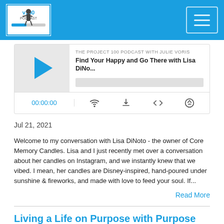Project 100 Podcast with Julie Voris — navigation header
[Figure (screenshot): Podcast player widget showing 'THE PROJECT 100 PODCAST WITH JULIE VORIS' and episode title 'Find Your Happy and Go There with Lisa DiNo...' with play button, progress bar, timestamp 00:00:00, and controls]
Jul 21, 2021
Welcome to my conversation with Lisa DiNoto - the owner of Core Memory Candles. Lisa and I just recently met over a conversation about her candles on Instagram, and we instantly knew that we vibed. I mean, her candles are Disney-inspired, hand-poured under sunshine & fireworks, and made with love to feed your soul. If...
Read More
Living a Life on Purpose with Purpose